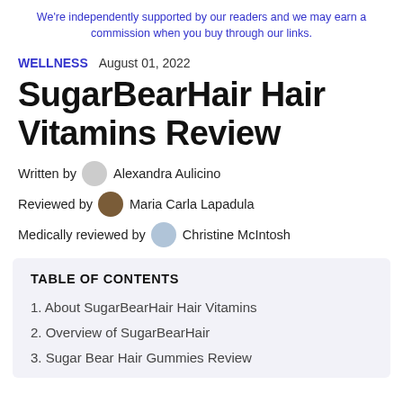We're independently supported by our readers and we may earn a commission when you buy through our links.
WELLNESS  August 01, 2022
SugarBearHair Hair Vitamins Review
Written by  Alexandra Aulicino
Reviewed by  Maria Carla Lapadula
Medically reviewed by  Christine McIntosh
TABLE OF CONTENTS
1. About SugarBearHair Hair Vitamins
2. Overview of SugarBearHair
3. Sugar Bear Hair Gummies Review